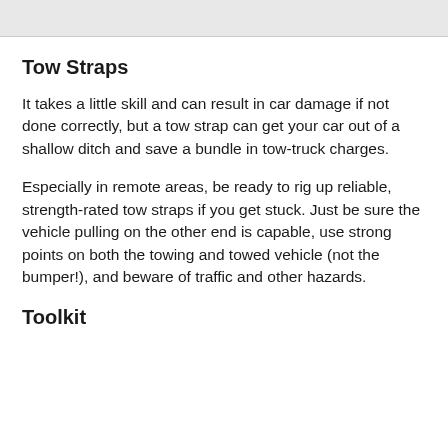Tow Straps
It takes a little skill and can result in car damage if not done correctly, but a tow strap can get your car out of a shallow ditch and save a bundle in tow-truck charges.
Especially in remote areas, be ready to rig up reliable, strength-rated tow straps if you get stuck. Just be sure the vehicle pulling on the other end is capable, use strong points on both the towing and towed vehicle (not the bumper!), and beware of traffic and other hazards.
Toolkit